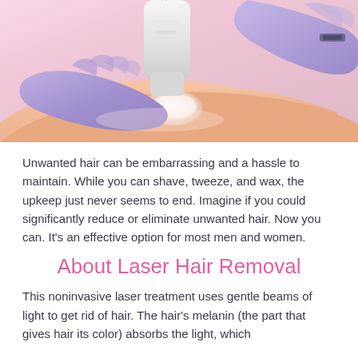[Figure (photo): A medical professional wearing purple/blue latex gloves applying a laser hair removal device to a patient's skin. A white handheld laser device is pressed against the skin which has a clear gel applied. The background shows a clinical setting with pink/peach tones.]
Unwanted hair can be embarrassing and a hassle to maintain. While you can shave, tweeze, and wax, the upkeep just never seems to end. Imagine if you could significantly reduce or eliminate unwanted hair. Now you can. It's an effective option for most men and women.
About Laser Hair Removal
This noninvasive laser treatment uses gentle beams of light to get rid of hair. The hair's melanin (the part that gives hair its color) absorbs the light, which